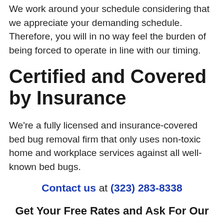We work around your schedule considering that we appreciate your demanding schedule. Therefore, you will in no way feel the burden of being forced to operate in line with our timing.
Certified and Covered by Insurance
We're a fully licensed and insurance-covered bed bug removal firm that only uses non-toxic home and workplace services against all well-known bed bugs.
Contact us at (323) 283-8338
Get Your Free Rates and Ask For Our